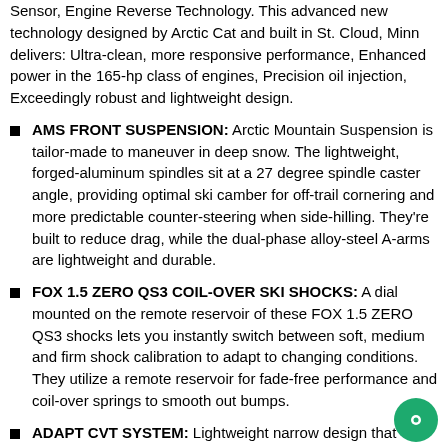Sensor, Engine Reverse Technology. This advanced new technology designed by Arctic Cat and built in St. Cloud, Minn delivers: Ultra-clean, more responsive performance, Enhanced power in the 165-hp class of engines, Precision oil injection, Exceedingly robust and lightweight design.
AMS FRONT SUSPENSION: Arctic Mountain Suspension is tailor-made to maneuver in deep snow. The lightweight, forged-aluminum spindles sit at a 27 degree spindle caster angle, providing optimal ski camber for off-trail cornering and more predictable counter-steering when side-hilling. They're built to reduce drag, while the dual-phase alloy-steel A-arms are lightweight and durable.
FOX 1.5 ZERO QS3 COIL-OVER SKI SHOCKS: A dial mounted on the remote reservoir of these FOX 1.5 ZERO QS3 shocks lets you instantly switch between soft, medium and firm shock calibration to adapt to changing conditions. They utilize a remote reservoir for fade-free performance and coil-over springs to smooth out bumps.
ADAPT CVT SYSTEM: Lightweight narrow design that increases performance and belt life. The all-new Arctic Cat ADAPT CVT system provides improved throttle response and smooth power delivery.
REINFORCED RUNNING BOARDS: Big air means big impact, which is why Hardcore's running boards are